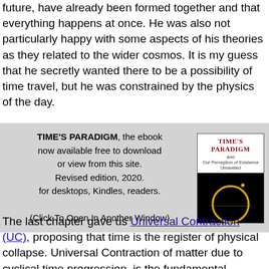future, have already been formed together and that everything happens at once. He was also not particularly happy with some aspects of his theories as they related to the wider cosmos. It is my guess that he secretly wanted there to be a possibility of time travel, but he was constrained by the physics of the day.
[Figure (other): Advertisement box for 'TIME'S PARADIGM' ebook by Alan R Graham, with book cover image showing a glowing ring against black background. Text says the ebook is available free to download or view, revised edition 2020, for desktops, Kindles, readers. Click To Open In Another Window.]
The last chapter gave us Universal Contraction (UC), proposing that time is the register of physical collapse. Universal Contraction of matter due to cyclical time progression, is the fundamental